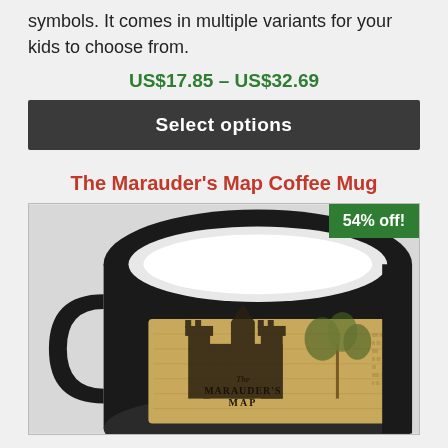symbols. It comes in multiple variants for your kids to choose from.
US$17.85 – US$32.69
Select options
The Marauder's Map Coffee Mug
[Figure (photo): A black color-changing coffee mug with a Marauder's Map design printed on it, showing a castle and the text 'The Marauder's Map'. A green badge in the top right corner reads '54% off!']